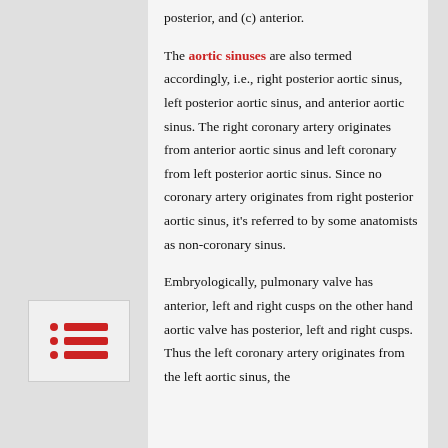posterior, and (c) anterior.
The aortic sinuses are also termed accordingly, i.e., right posterior aortic sinus, left posterior aortic sinus, and anterior aortic sinus. The right coronary artery originates from anterior aortic sinus and left coronary from left posterior aortic sinus. Since no coronary artery originates from right posterior aortic sinus, it's referred to by some anatomists as non-coronary sinus.
Embryologically, pulmonary valve has anterior, left and right cusps on the other hand aortic valve has posterior, left and right cusps. Thus the left coronary artery originates from the left aortic sinus, the